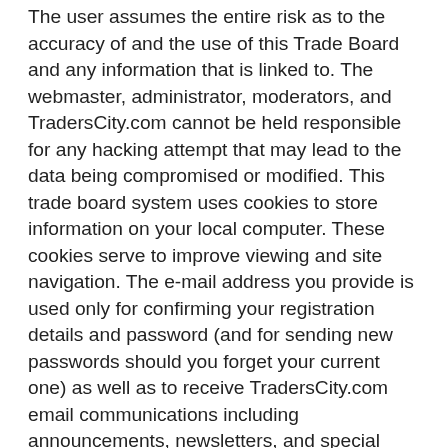The user assumes the entire risk as to the accuracy of and the use of this Trade Board and any information that is linked to. The webmaster, administrator, moderators, and TradersCity.com cannot be held responsible for any hacking attempt that may lead to the data being compromised or modified. This trade board system uses cookies to store information on your local computer. These cookies serve to improve viewing and site navigation. The e-mail address you provide is used only for confirming your registration details and password (and for sending new passwords should you forget your current one) as well as to receive TradersCity.com email communications including announcements, newsletters, and special offers. You agree not to hold TradersCity.com liable for any user posted content including but not limited to trade leads, profiles, images, and any other data. Posts, leads, and reference to any products, processes, publications, or services listed or linked at/from TradersCity.com does not constitute or imply